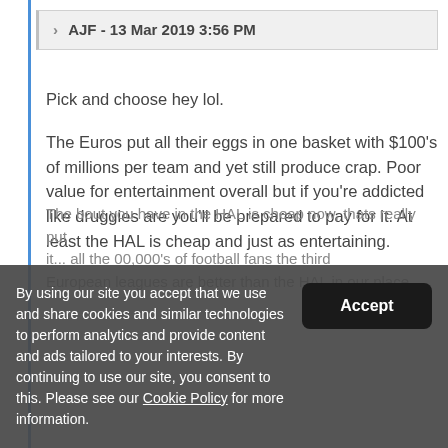AJF - 13 Mar 2019 3:56 PM
Pick and choose hey lol.
The Euros put all their eggs in one basket with $100's of millions per team and yet still produce crap. Poor value for entertainment overall but if you're addicted like druggies are you'll be prepared to pay for it. At least the HAL is cheap and just as entertaining.
The bout you have in the HAL is cheap now, thats really put it... all the 00,000's of football fans the third European leagues are better than the HAL in our place
By using our site you accept that we use and share cookies and similar technologies to perform analytics and provide content and ads tailored to your interests. By continuing to use our site, you consent to this. Please see our Cookie Policy for more information.